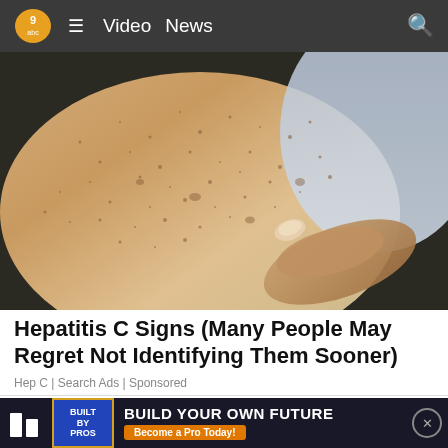Video  News
[Figure (photo): Close-up photo of a person's arm with skin showing small dark spots/freckles, with a finger pointing at the affected area. The person is wearing a light blue garment.]
Hepatitis C Signs (Many People May Regret Not Identifying Them Sooner)
Hep C | Search Ads | Sponsored
[Figure (infographic): Advertisement banner: Built By Pros badge on dark blue background with text BUILD YOUR OWN FUTURE and Become a Pro Today! on orange button]